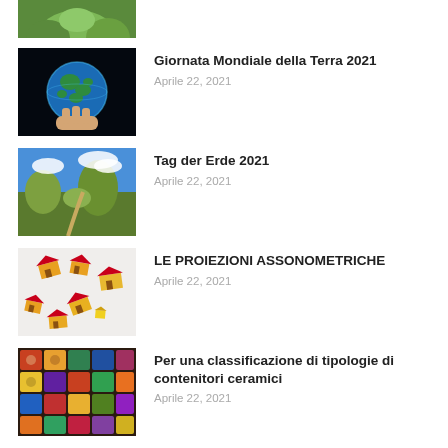[Figure (photo): Partial image at top - hand holding green plant, cropped]
[Figure (photo): Globe held in hands against dark background - Giornata Mondiale della Terra]
Giornata Mondiale della Terra 2021
Aprile 22, 2021
[Figure (photo): Green hillside landscape with blue sky - Tag der Erde]
Tag der Erde 2021
Aprile 22, 2021
[Figure (photo): Colorful 3D house models scattered on white background]
LE PROIEZIONI ASSONOMETRICHE
Aprile 22, 2021
[Figure (photo): Colorful ceramic containers/tiles arranged together]
Per una classificazione di tipologie di contenitori ceramici
Aprile 22, 2021
[Figure (photo): Circular colorful logo - partial at bottom]
La globalizzazione